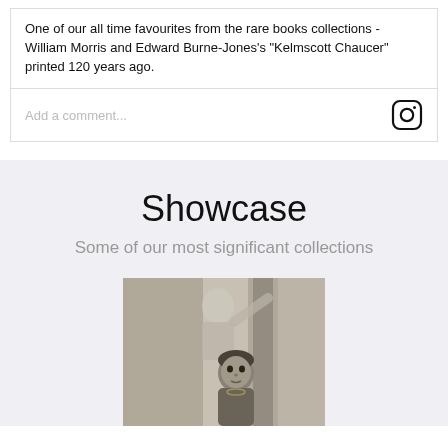One of our all time favourites from the rare books collections - William Morris and Edward Burne-Jones's "Kelmscott Chaucer" printed 120 years ago.
Add a comment...
Showcase
Some of our most significant collections
[Figure (photo): Black and white photograph showing two children, one in the background and one in the foreground, with a patterned fabric or flag behind them.]